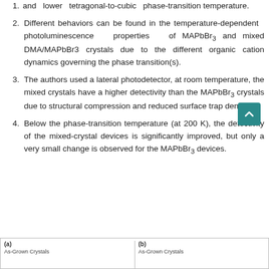and lower tetragonal-to-cubic phase-transition temperature.
Different behaviors can be found in the temperature-dependent photoluminescence properties of MAPbBr3 and mixed DMA/MAPbBr3 crystals due to the different organic cation dynamics governing the phase transition(s).
The authors used a lateral photodetector, at room temperature, the mixed crystals have a higher detectivity than the MAPbBr3 crystals due to structural compression and reduced surface trap density.
Below the phase-transition temperature (at 200 K), the detectivity of the mixed-crystal devices is significantly improved, but only a very small change is observed for the MAPbBr3 devices.
[Figure (other): Partial view of two figure panels labeled (a) and (b), each showing 'As-Grown Crystals' label at the top.]